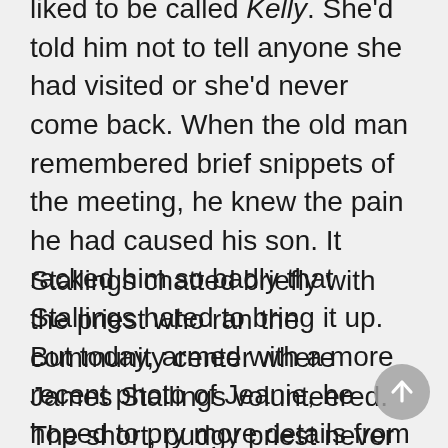liked to be called Kelly. She'd told him not to tell anyone she had visited or she'd never come back. When the old man remembered brief snippets of the meeting, he knew the pain he had caused his son. It racked him so badly that Stallings hated to bring it up. But today, armed with a more recent photo of Jeanie, he hoped to pry more details from his father's defective brain.
Stallings chatted briefly with the priest who ran the community center where James Stallings volunteered. The short, pudgy priest never seemed to do anything but watch the various tables of adults talking about their problems on one side of the giant room and the boys playing basketball on the other. But he liked